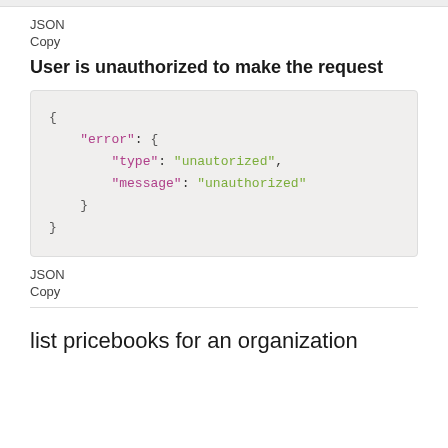JSON
Copy
User is unauthorized to make the request
{
    "error": {
        "type": "unautorized",
        "message": "unauthorized"
    }
}
JSON
Copy
list pricebooks for an organization